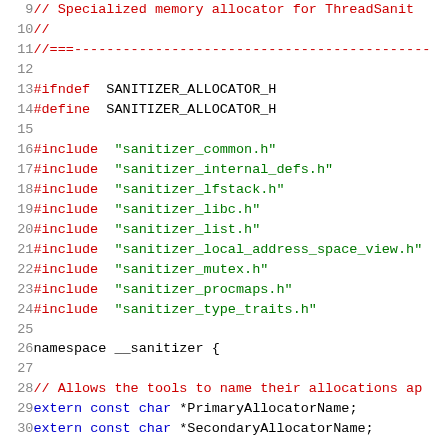[Figure (screenshot): Source code viewer showing lines 9-30 of a C++ header file (sanitizer_allocator.h). Line numbers on the left in gray, code on the right with syntax highlighting: red for comments and preprocessor directives, green for string literals, black/dark blue for keywords and identifiers.]